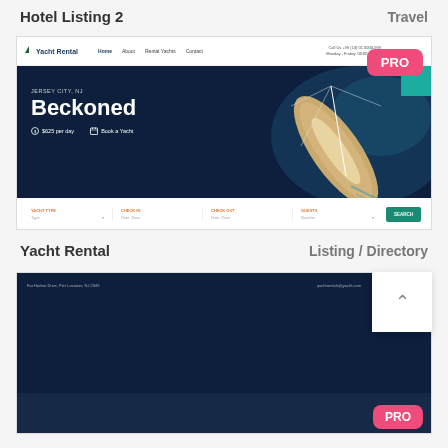Hotel Listing 2
Travel
[Figure (screenshot): Screenshot of a Yacht Rental website with a navy blue hero section showing 'JERSEY CITY, NJ' and 'Beckoned' in large white text, with '$625 per day' and 'Book a Yacht' links, a navigation bar with Home, About, Rental Yachts, Contact links, a search form at the bottom with fields for Yacht Type, Check In, Check Out, Guests and a teal Search button, and an aerial photo of a sailing yacht. A pink PRO badge appears in the top right corner.]
Yacht Rental
Listing / Directory
[Figure (screenshot): Partial screenshot of a dark-themed website with a pink PRO badge in the bottom right corner.]